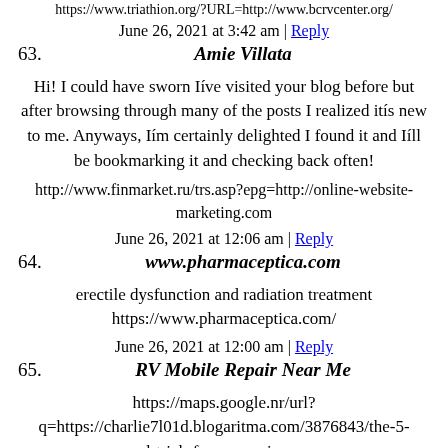https://www.triathion.org/?URL=http://www.bcrvcenter.org/
June 26, 2021 at 3:42 am | Reply
63. Amie Villata
Hi! I could have sworn Iíve visited your blog before but after browsing through many of the posts I realized itís new to me. Anyways, Iím certainly delighted I found it and Iíll be bookmarking it and checking back often!
http://www.finmarket.ru/trs.asp?epg=http://online-website-marketing.com
June 26, 2021 at 12:06 am | Reply
64. www.pharmaceptica.com
erectile dysfunction and radiation treatment
https://www.pharmaceptica.com/
June 26, 2021 at 12:00 am | Reply
65. RV Mobile Repair Near Me
https://maps.google.nr/url?q=https://charlie7l01d.blogaritma.com/3876843/the-5-second-trick-for-rv-repairs-near-me
June 25, 2021 at 11:37... | Reply